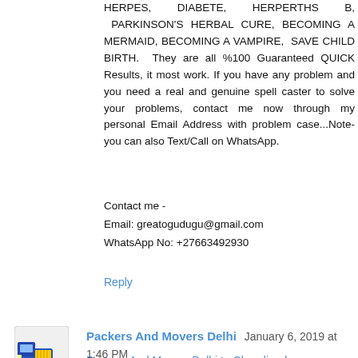HERPES, DIABETE, HERPERTHS B, PARKINSON'S HERBAL CURE, BECOMING A MERMAID, BECOMING A VAMPIRE, SAVE CHILD BIRTH. They are all %100 Guaranteed QUICK Results, it most work. If you have any problem and you need a real and genuine spell caster to solve your problems, contact me now through my personal Email Address with problem case...Note-you can also Text/Call on WhatsApp.
Contact me -
Email: greatogudugu@gmail.com
WhatsApp No: +27663492930
Reply
Packers And Movers Delhi  January 6, 2019 at 1:46 PM
Packers And Movers Delhi to Chandigarh
Packers And Movers Delhi to Patna
Packers And Movers Delhi to Mumbai